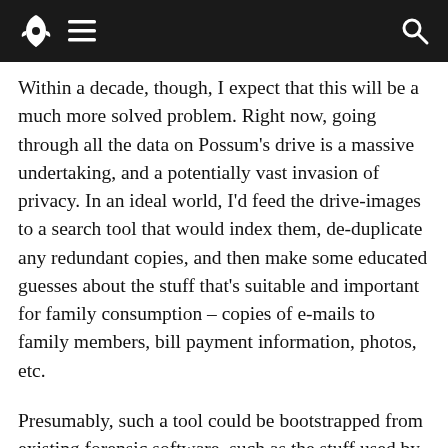navigation bar with rocket logo, hamburger menu, and search icon
Within a decade, though, I expect that this will be a much more solved problem. Right now, going through all the data on Possum's drive is a massive undertaking, and a potentially vast invasion of privacy. In an ideal world, I'd feed the drive-images to a search tool that would index them, de-duplicate any redundant copies, and then make some educated guesses about the stuff that's suitable and important for family consumption – copies of e-mails to family members, bill payment information, photos, etc.
Presumably, such a tool could be bootstrapped from existing forensic software, such as the stuff used by customs agents to find suspicious data on searched hard-drives. Ironically, these gross invasions of privacy could help us preserve the privacy of the dead (and the living, where a deceased person's drive contains